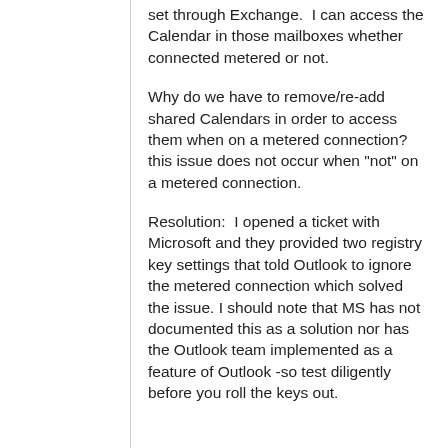set through Exchange.  I can access the Calendar in those mailboxes whether connected metered or not.
Why do we have to remove/re-add shared Calendars in order to access them when on a metered connection?  this issue does not occur when "not" on a metered connection.
Resolution:  I opened a ticket with Microsoft and they provided two registry key settings that told Outlook to ignore the metered connection which solved the issue.  I should note that MS has not documented this as a solution nor has the Outlook team implemented as a feature of Outlook -so test diligently before you roll the keys out.